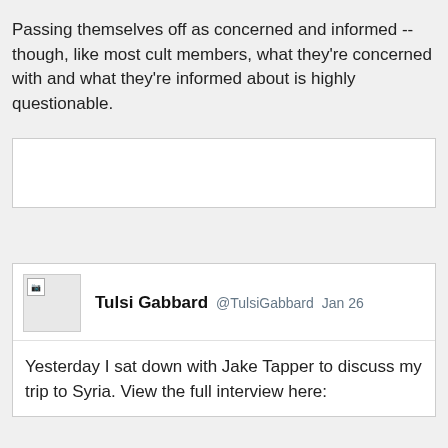Passing themselves off as concerned and informed -- though, like most cult members, what they're concerned with and what they're informed about is highly questionable.
[Figure (other): Advertisement or embedded media placeholder box (white rectangle with border)]
Tulsi Gabbard @TulsiGabbard  Jan 26
Yesterday I sat down with Jake Tapper to discuss my trip to Syria. View the full interview here: